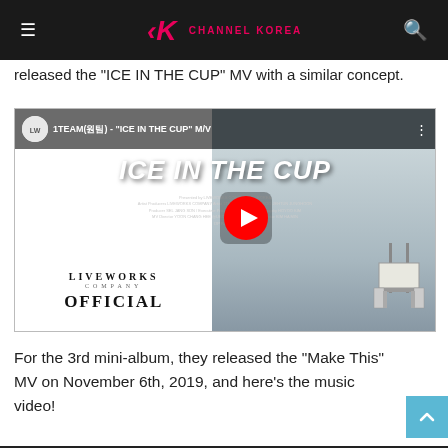Channel Korea
released the "ICE IN THE CUP" MV with a similar concept.
[Figure (screenshot): YouTube video embed showing 1TEAM(원팀) - "ICE IN THE CUP" M/V with LiveWorks Company Official branding on the left and a beach/lifeguard tower scene on the right, with a YouTube play button overlay.]
For the 3rd mini-album, they released the "Make This" MV on November 6th, 2019, and here's the music video!